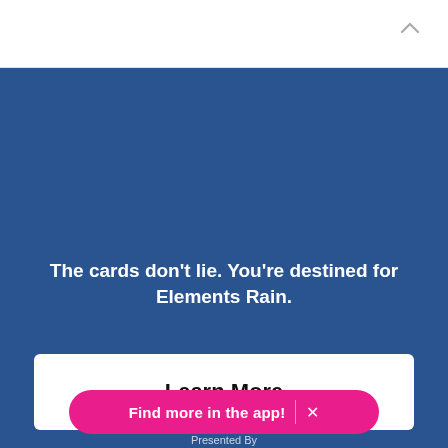[Figure (screenshot): White top navigation bar with a chevron/up-arrow icon in the top right corner]
The cards don't lie. You're destined for Elements Rain.
Learn More
Find more in the app!
Presented By